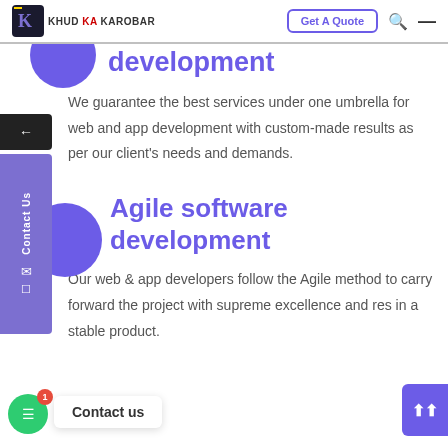KHUD KA KAROBAR | Get A Quote
development
We guarantee the best services under one umbrella for web and app development with custom-made results as per our client's needs and demands.
Agile software development
Our web & app developers follow the Agile method to carry forward the project with supreme excellence and result in a stable product.
Contact us